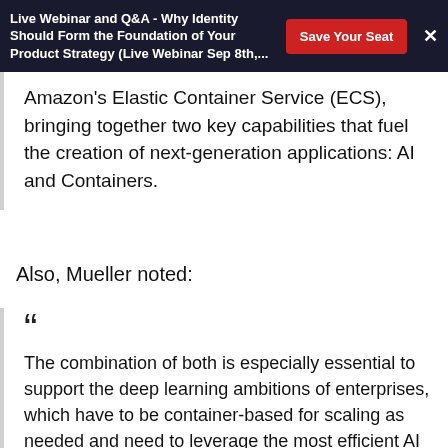Live Webinar and Q&A - Why Identity Should Form the Foundation of Your Product Strategy (Live Webinar Sep 8th,...
Amazon's Elastic Container Service (ECS), bringing together two key capabilities that fuel the creation of next-generation applications: AI and Containers.
Also, Mueller noted:
The combination of both is especially essential to support the deep learning ambitions of enterprises, which have to be container-based for scaling as needed and need to leverage the most efficient AI chips of the respective cloud they work on, in Amazon's case Inf1 - which was just announced late in 2019.